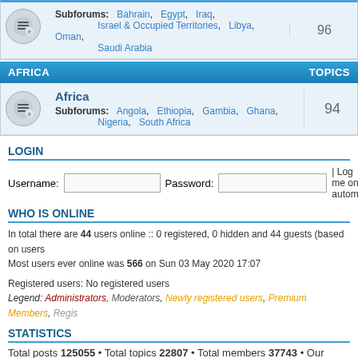Subforums: Bahrain, Egypt, Iraq, Israel & Occupied Territories, Libya, Oman, Saudi Arabia
AFRICA   TOPICS
Africa
Subforums: Angola, Ethiopia, Gambia, Ghana, Nigeria, South Africa
94
LOGIN
Username:   Password:   | Log me on autom
WHO IS ONLINE
In total there are 44 users online :: 0 registered, 0 hidden and 44 guests (based on users). Most users ever online was 566 on Sun 03 May 2020 17:07
Registered users: No registered users
Legend: Administrators, Moderators, Newly registered users, Premium Members, Regis
STATISTICS
Total posts 125055 • Total topics 22807 • Total members 37743 • Our newest member G
Board index   The team •
Powered by phpBB® Forum Software © phpBB Gr